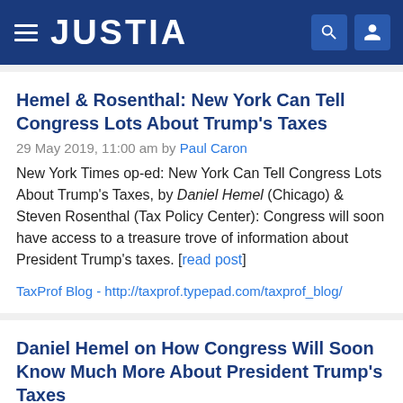JUSTIA
Hemel & Rosenthal: New York Can Tell Congress Lots About Trump's Taxes
29 May 2019, 11:00 am by Paul Caron
New York Times op-ed: New York Can Tell Congress Lots About Trump's Taxes, by Daniel Hemel (Chicago) & Steven Rosenthal (Tax Policy Center): Congress will soon have access to a treasure trove of information about President Trump's taxes. [read post]
TaxProf Blog - http://taxprof.typepad.com/taxprof_blog/
Daniel Hemel on How Congress Will Soon Know Much More About President Trump's Taxes
29 May 2019, 10:04 am by willcanderson